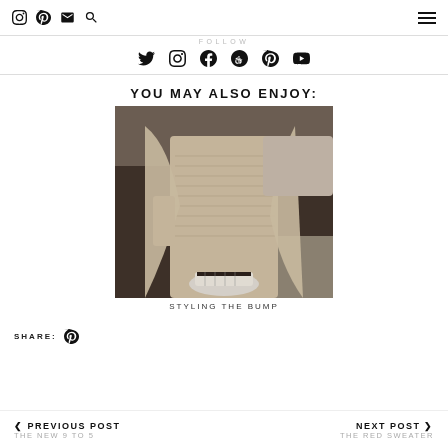social icons and menu
FOLLOW
social share icons: twitter, instagram, facebook, google+, pinterest, youtube
YOU MAY ALSO ENJOY:
[Figure (photo): A person wearing beige ribbed knit outfit with sneakers, sitting on a dark sofa with knit blanket]
STYLING THE BUMP
SHARE:
< PREVIOUS POST  THE NEW 9 TO 5
NEXT POST >  THE RED SWEATER